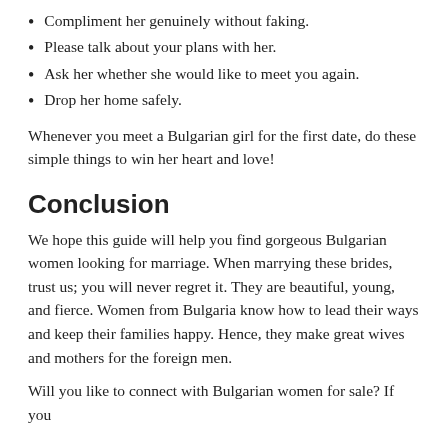Compliment her genuinely without faking.
Please talk about your plans with her.
Ask her whether she would like to meet you again.
Drop her home safely.
Whenever you meet a Bulgarian girl for the first date, do these simple things to win her heart and love!
Conclusion
We hope this guide will help you find gorgeous Bulgarian women looking for marriage. When marrying these brides, trust us; you will never regret it. They are beautiful, young, and fierce. Women from Bulgaria know how to lead their ways and keep their families happy. Hence, they make great wives and mothers for the foreign men.
Will you like to connect with Bulgarian women for sale? If you